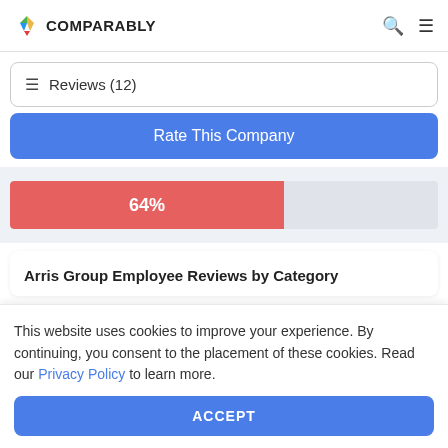COMPARABLY
Reviews (12)
Rate This Company
[Figure (bar-chart): 64% progress bar]
Arris Group Employee Reviews by Category
This website uses cookies to improve your experience. By continuing, you consent to the placement of these cookies. Read our Privacy Policy to learn more.
ACCEPT